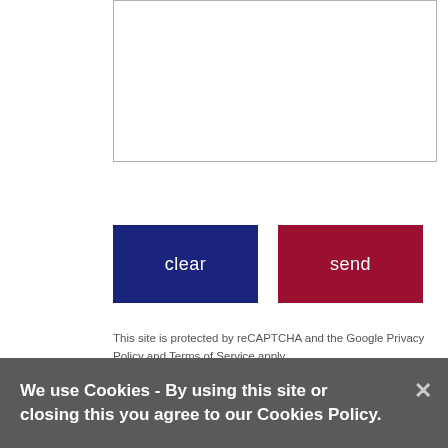[Figure (other): Empty white form/textarea input box with gray border]
clear
send
This site is protected by reCAPTCHA and the Google Privacy Policy and Terms of Service apply.
We use Cookies - By using this site or closing this you agree to our Cookies Policy.